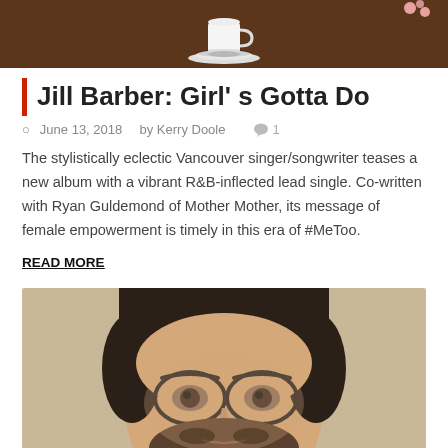[Figure (photo): Top photo showing a white cup and saucer on a wooden table]
Jill Barber: Girl's Gotta Do
June 13, 2018  by Kerry Doole   1
The stylistically eclectic Vancouver singer/songwriter teases a new album with a vibrant R&B-inflected lead single. Co-written with Ryan Guldemond of Mother Mother, its message of female empowerment is timely in this era of #MeToo.
READ MORE
[Figure (photo): Photo of a man with dark hair, beard, and glasses looking at the camera]